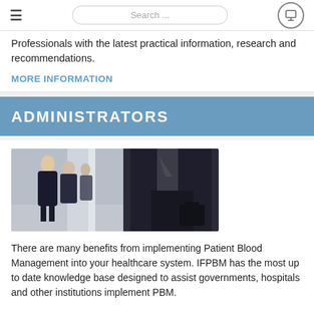≡   Search ...   [monitor icon]
Professionals with the latest practical information, research and recommendations.
MORE INFORMATION
ADMINISTRATORS
[Figure (photo): Business professionals walking in an office corridor, split into two panels showing people in business attire]
There are many benefits from implementing Patient Blood Management into your healthcare system. IFPBM has the most up to date knowledge base designed to assist governments, hospitals and other institutions implement PBM.